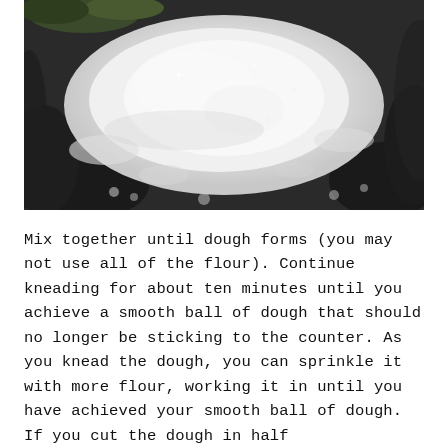[Figure (photo): Close-up photograph of flour on a dark surface, viewed from above. The flour forms a white mound or well shape against a dark, rough background, with scattered flour dust around the edges.]
Mix together until dough forms (you may not use all of the flour). Continue kneading for about ten minutes until you achieve a smooth ball of dough that should no longer be sticking to the counter. As you knead the dough, you can sprinkle it with more flour, working it in until you have achieved your smooth ball of dough. If you cut the dough in half